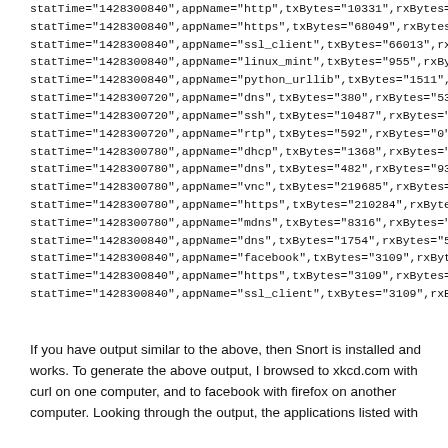statTime="1428300840",appName="http",txBytes="10331",rxBytes=... statTime="1428300840",appName="https",txBytes="68049",rxBytes="18... statTime="1428300840",appName="ssl_client",txBytes="66013",rxBytes... statTime="1428300840",appName="linux_mint",txBytes="955",rxBytes=... statTime="1428300840",appName="python_urllib",txBytes="1511",rxByt... statTime="1428300720",appName="dns",txBytes="380",rxBytes="538" statTime="1428300720",appName="ssh",txBytes="10487",rxBytes="249... statTime="1428300720",appName="rtp",txBytes="592",rxBytes="0" statTime="1428300780",appName="dhcp",txBytes="1368",rxBytes="0" statTime="1428300780",appName="dns",txBytes="482",rxBytes="936" statTime="1428300780",appName="vnc",txBytes="219685",rxBytes="51... statTime="1428300780",appName="https",txBytes="210284",rxBytes="1... statTime="1428300780",appName="mdns",txBytes="8316",rxBytes="0" statTime="1428300840",appName="dns",txBytes="1754",rxBytes="5372... statTime="1428300840",appName="facebook",txBytes="3109",rxBytes=... statTime="1428300840",appName="https",txBytes="3109",rxBytes="110... statTime="1428300840",appName="ssl_client",txBytes="3109",rxBytes=...
If you have output similar to the above, then Snort is installed and works. To generate the above output, I browsed to xkcd.com with curl on one computer, and to facebook with firefox on another computer. Looking through the output, the applications listed with